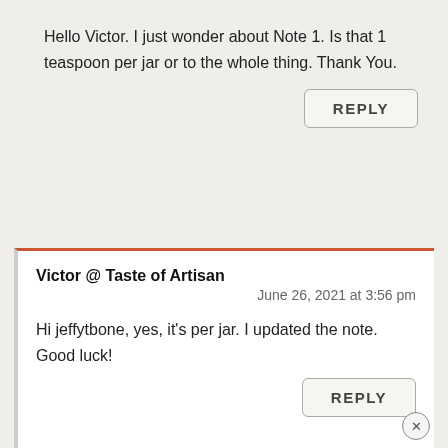Hello Victor. I just wonder about Note 1. Is that 1 teaspoon per jar or to the whole thing. Thank You.
REPLY
Victor @ Taste of Artisan
June 26, 2021 at 3:56 pm
Hi jeffytbone, yes, it's per jar. I updated the note. Good luck!
REPLY